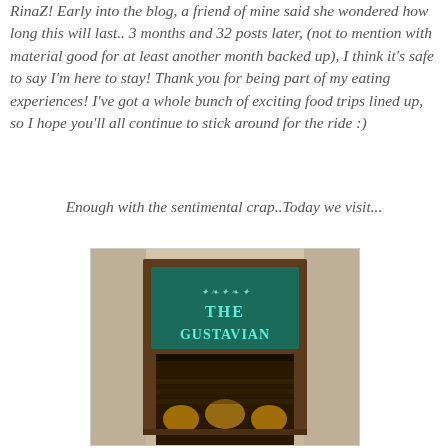RinaZ! Early into the blog, a friend of mine said she wondered how long this will last.. 3 months and 32 posts later, (not to mention with material good for at least another month backed up), I think it's safe to say I'm here to stay! Thank you for being part of my eating experiences! I've got a whole bunch of exciting food trips lined up, so I hope you'll all continue to stick around for the ride :)
Enough with the sentimental crap..Today we visit...
[Figure (photo): Photo of The Gustavian restaurant entrance sign — a dark wood frame with a teal/green illuminated sign reading 'THE GUSTAVIAN' in white/cyan letters, with decorative flourishes above, interior lighting visible below]